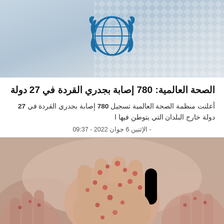[Figure (illustration): WHO/UN logo on decorative banner background with diagonal checkered pattern in grey and blue tones]
الصحة العالمية: 780 إصابة بجدري القردة في 27 دولة
أعلنت منظمة الصحة العالمية تسجيل 780 إصابة بجدري القردة في 27 دولة خارج البلدان التي يتوطن فيها ا
- الإثنين 6 جوان 2022 - 09:37
[Figure (photo): Close-up photograph of hands showing skin rash/lesions characteristic of monkeypox disease - red spots visible on the skin of fingers and hands]